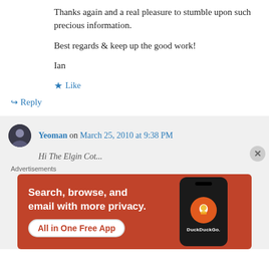Thanks again and a real pleasure to stumble upon such precious information.

Best regards & keep up the good work!

Ian
Like
Reply
Yeoman on March 25, 2010 at 9:38 PM
Advertisements
[Figure (screenshot): DuckDuckGo advertisement banner: orange background with white text 'Search, browse, and email with more privacy. All in One Free App' and a phone mockup showing the DuckDuckGo logo.]